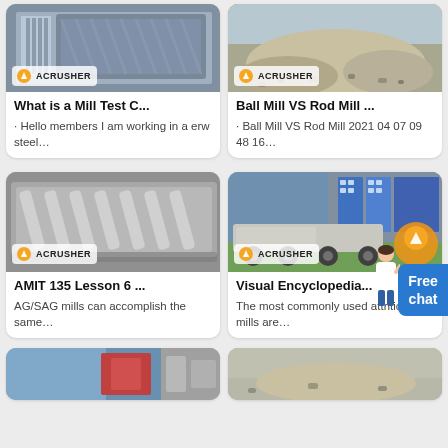[Figure (photo): Industrial mill/machine with striped metal panels - Acrusher branded]
What is a Mill Test C...
· Hello members I am working in a erw steel…
[Figure (photo): Gravel/aggregate pile outdoors - Acrusher branded]
Ball Mill VS Rod Mill ...
· Ball Mill VS Rod Mill 2021 04 07 09 48 16…
[Figure (photo): Vibrating screen/rod mill equipment with cylindrical rods - Acrusher branded]
AMIT 135 Lesson 6 ...
AG/SAG mills can accomplish the same…
[Figure (photo): Mobile crusher unit on wheels outdoors - Acrusher branded]
Visual Encyclopedia...
The most commonly used attrition mills are…
[Figure (photo): Partial bottom card image 1 - industrial equipment]
[Figure (photo): Partial bottom card image 2 - outdoor aggregate/equipment]